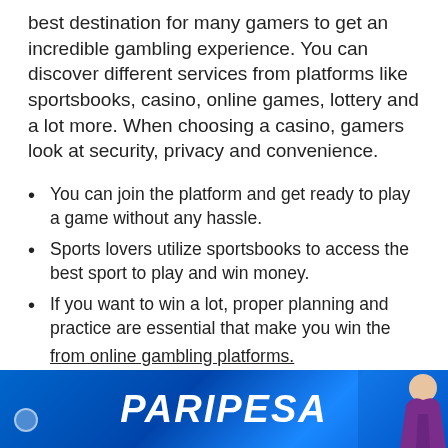best destination for many gamers to get an incredible gambling experience. You can discover different services from platforms like sportsbooks, casino, online games, lottery and a lot more. When choosing a casino, gamers look at security, privacy and convenience.
You can join the platform and get ready to play a game without any hassle.
Sports lovers utilize sportsbooks to access the best sport to play and win money.
If you want to win a lot, proper planning and practice are essential that make you win the game and ensure a good amount.
You can pay attention to the best ways to win money easily from online gambling platforms.
[Figure (illustration): PARIPESA advertisement banner with blue gradient background, large white italic bold text reading PARIPESA, a small circular icon on the left, and a woman figure on the right.]